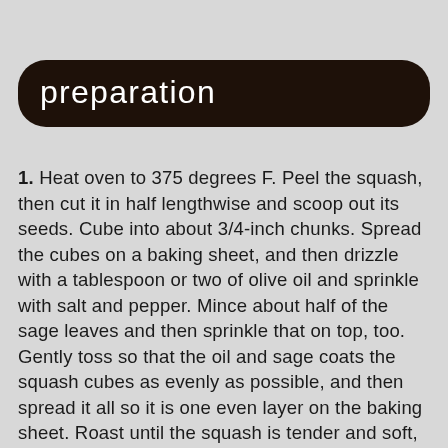preparation
1. Heat oven to 375 degrees F. Peel the squash, then cut it in half lengthwise and scoop out its seeds. Cube into about 3/4-inch chunks. Spread the cubes on a baking sheet, and then drizzle with a tablespoon or two of olive oil and sprinkle with salt and pepper. Mince about half of the sage leaves and then sprinkle that on top, too. Gently toss so that the oil and sage coats the squash cubes as evenly as possible, and then spread it all so it is one even layer on the baking sheet. Roast until the squash is tender and soft, about 30-40 minutes, taking out the pan halfway through to turn over the squash.